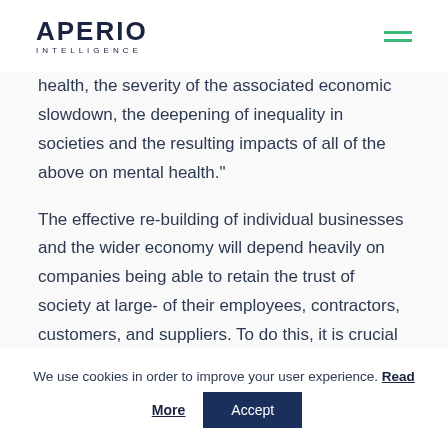APERIO INTELLIGENCE
health, the severity of the associated economic slowdown, the deepening of inequality in societies and the resulting impacts of all of the above on mental health."
The effective re-building of individual businesses and the wider economy will depend heavily on companies being able to retain the trust of society at large- of their employees, contractors, customers, and suppliers. To do this, it is crucial that
We use cookies in order to improve your user experience. Read More Accept